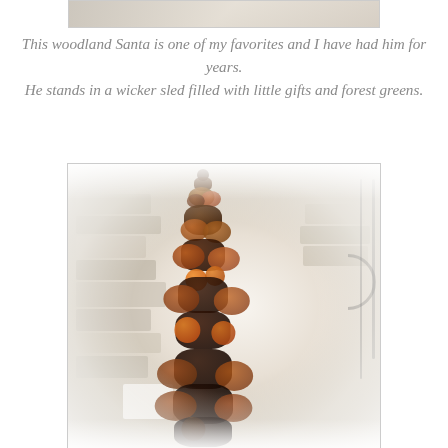[Figure (photo): Top portion of a previous image, partially cropped at top of page — appears to show the upper part of a woodland Santa decoration.]
This woodland Santa is one of my favorites and I have had him for years.
He stands in a wicker sled filled with little gifts and forest greens.
[Figure (photo): A tall narrow topiary or cone-shaped decoration made of pine cones and natural forest elements (acorns, berries), displayed in front of a stone fireplace or stone wall interior with decorative ironwork visible in the background.]